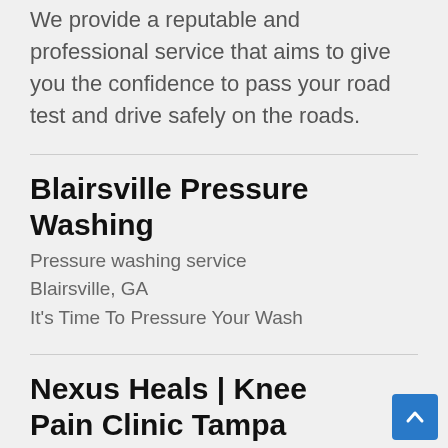We provide a reputable and professional service that aims to give you the confidence to pass your road test and drive safely on the roads.
Blairsville Pressure Washing
Pressure washing service
Blairsville, GA
It's Time To Pressure Your Wash
Nexus Heals | Knee Pain Clinic Tampa
Orthopedic clinic